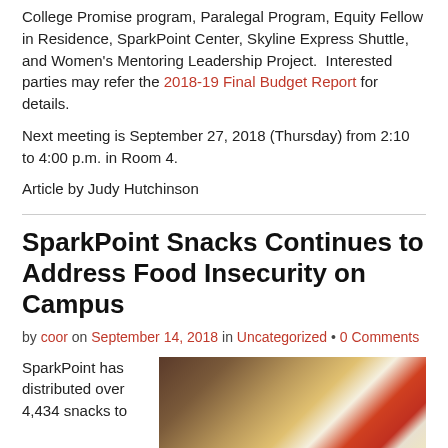College Promise program, Paralegal Program, Equity Fellow in Residence, SparkPoint Center, Skyline Express Shuttle, and Women's Mentoring Leadership Project.  Interested parties may refer the 2018-19 Final Budget Report for details.
Next meeting is September 27, 2018 (Thursday) from 2:10 to 4:00 p.m. in Room 4.
Article by Judy Hutchinson
SparkPoint Snacks Continues to Address Food Insecurity on Campus
by coor on September 14, 2018 in Uncategorized • 0 Comments
SparkPoint has distributed over 4,434 snacks to
[Figure (photo): Photo of a table with snacks and informational flyers including a Dream Center sign, various brochures, and snack packages.]